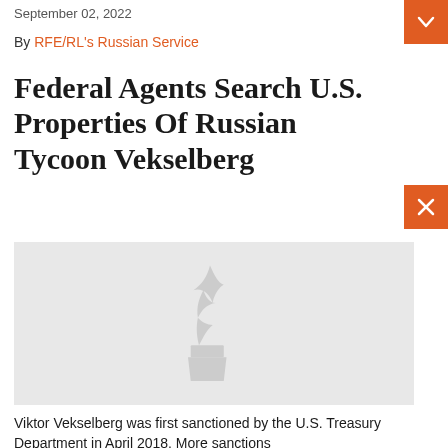September 02, 2022
By RFE/RL's Russian Service
Federal Agents Search U.S. Properties Of Russian Tycoon Vekselberg
[Figure (photo): Gray placeholder image with RFE/RL watermark logo (stylized bird/torch icon) centered, with an expand/fullscreen button in the top-right corner]
Viktor Vekselberg was first sanctioned by the U.S. Treasury Department in April 2018. More sanctions